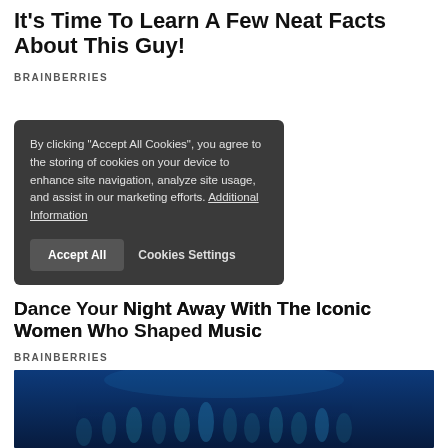It's Time To Learn A Few Neat Facts About This Guy!
BRAINBERRIES
By clicking "Accept All Cookies", you agree to the storing of cookies on your device to enhance site navigation, analyze site usage, and assist in our marketing efforts. Additional Information
Accept All | Cookies Settings
Dance Your Night Away With The Iconic Women Who Shaped Music
BRAINBERRIES
[Figure (photo): Underwater photo showing group of humanoid figures/sculptures in blue water]